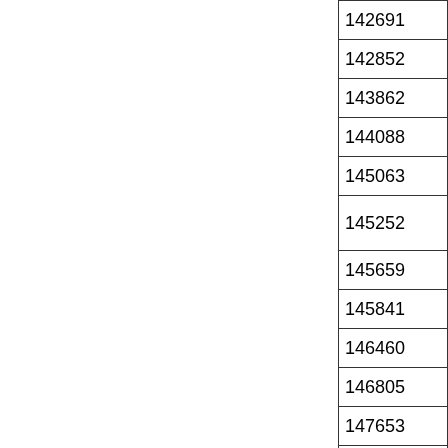| 142691 |
| 142852 |
| 143862 |
| 144088 |
| 145063 |
| 145252 |
| 145659 |
| 145841 |
| 146460 |
| 146805 |
| 147653 |
| 162179 |
|  |